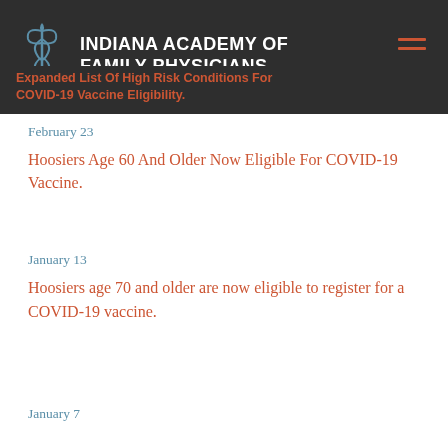[Figure (logo): Indiana Academy of Family Physicians logo with caduceus symbol and organization name]
Expanded List Of High Risk Conditions For COVID-19 Vaccine Eligibility.
February 23
Hoosiers Age 60 And Older Now Eligible For COVID-19 Vaccine.
January 13
Hoosiers age 70 and older are now eligible to register for a COVID-19 vaccine.
January 7